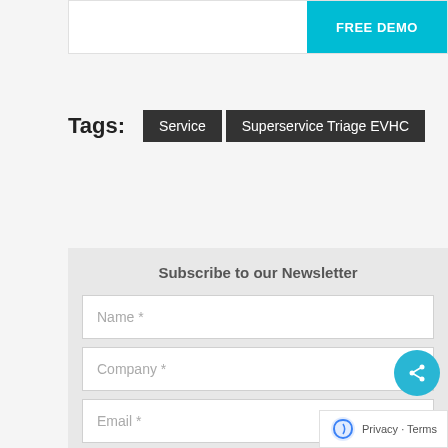[Figure (screenshot): Top banner with FREE DEMO button in cyan]
Tags: Service  Superservice Triage EVHC
Subscribe to our Newsletter
Name *
Company *
Email *
SIGN UP NOW
Privacy · Terms